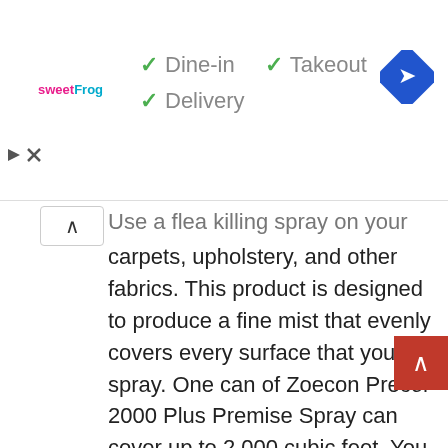[Figure (logo): sweetFrog logo in pink and teal text]
✓ Dine-in  ✓ Takeout  ✓ Delivery
[Figure (other): Blue diamond navigation/directions icon top right]
Use a flea killing spray on your rugs, carpets, upholstery, and other fabrics. This product is designed to produce a fine mist that evenly covers every surface that you spray. One can of Zoecon Precor 2000 Plus Premise Spray can cover up to 2,000 cubic feet. You can also use it on wood floors, dog kennels, and other places that fleas may be residing.
Sprinkle a flea killing powder on your furniture and carpets before you vacuum. Powders like this one are super easy to use and very cost-effective. This particular one